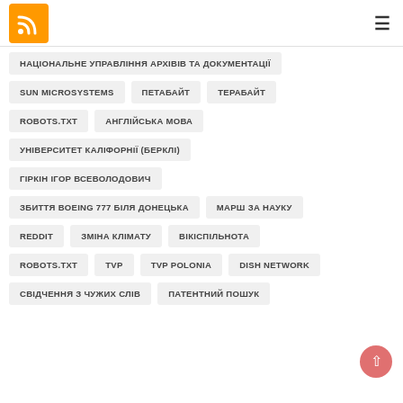RSS icon and hamburger menu
НАЦІОНАЛЬНЕ УПРАВЛІННЯ АРХІВІВ ТА ДОКУМЕНТАЦІЇ
SUN MICROSYSTEMS
ПЕТАБАЙТ
ТЕРАБАЙТ
ROBOTS.TXT
АНГЛІЙСЬКА МОВА
УНІВЕРСИТЕТ КАЛІФОРНІЇ (БЕРКЛІ)
ГІРКІН ІГОР ВСЕВОЛОДОВИЧ
ЗБИТТЯ BOEING 777 БІЛЯ ДОНЕЦЬКА
МАРШ ЗА НАУКУ
REDDIT
ЗМІНА КЛІМАТУ
ВІКІСПІЛЬНОТА
ROBOTS.TXT
TVP
TVP POLONIA
DISH NETWORK
СВІДЧЕННЯ З ЧУЖИХ СЛІВ
ПАТЕНТНИЙ ПОШУК